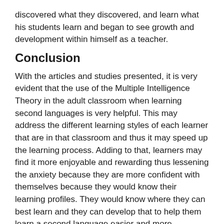discovered what they discovered, and learn what his students learn and began to see growth and development within himself as a teacher.
Conclusion
With the articles and studies presented, it is very evident that the use of the Multiple Intelligence Theory in the adult classroom when learning second languages is very helpful. This may address the different learning styles of each learner that are in that classroom and thus it may speed up the learning process. Adding to that, learners may find it more enjoyable and rewarding thus lessening the anxiety because they are more confident with themselves because they would know their learning profiles. They would know where they can best learn and they can develop that to help them learn a second language easier and more comfortably
References